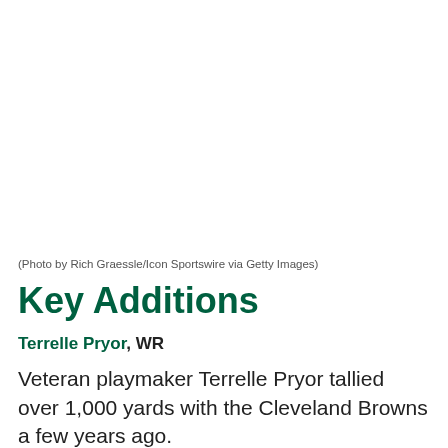(Photo by Rich Graessle/Icon Sportswire via Getty Images)
Key Additions
Terrelle Pryor, WR
Veteran playmaker Terrelle Pryor tallied over 1,000 yards with the Cleveland Browns a few years ago.